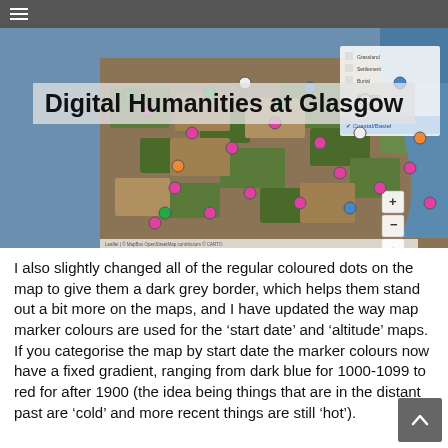Digital Humanities at Glasgow
[Figure (map): Aerial/satellite map showing a coastal region with coloured marker dots (pink, green, blue, white) clustered across farmland and coastline. Map has zoom controls and layer options visible in corner.]
I also slightly changed all of the regular coloured dots on the map to give them a dark grey border, which helps them stand out a bit more on the maps, and I have updated the way map marker colours are used for the ‘start date’ and ‘altitude’ maps.  If you categorise the map by start date the marker colours now have a fixed gradient, ranging from dark blue for 1000-1099 to red for after 1900 (the idea being things that are in the distant past are ‘cold’ and more recent things are still ‘hot’).